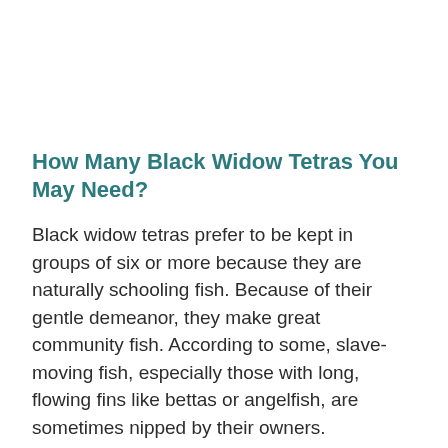How Many Black Widow Tetras You May Need?
Black widow tetras prefer to be kept in groups of six or more because they are naturally schooling fish. Because of their gentle demeanor, they make great community fish. According to some, slave-moving fish, especially those with long, flowing fins like bettas or angelfish, are sometimes nipped by their owners.
Would They Nibble on the leaves of Crinum...